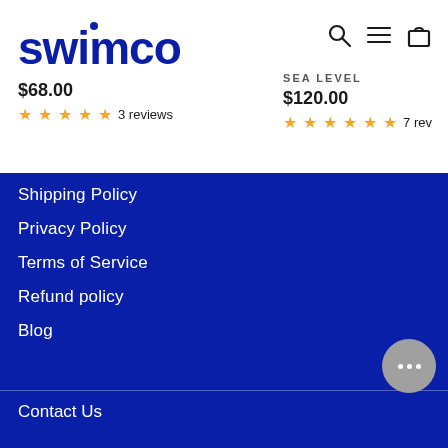swimco
$68.00
★★★★½ 3 reviews
SEA LEVEL
$120.00
★★★★★★ 7 rev
Shipping Policy
Privacy Policy
Terms of Service
Refund policy
Blog
Contact Us